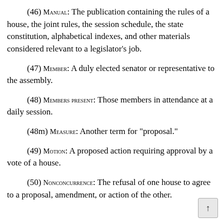(46) MANUAL: The publication containing the rules of a house, the joint rules, the session schedule, the state constitution, alphabetical indexes, and other materials considered relevant to a legislator's job.
(47) MEMBER: A duly elected senator or representative to the assembly.
(48) MEMBERS PRESENT: Those members in attendance at a daily session.
(48m) MEASURE: Another term for "proposal."
(49) MOTION: A proposed action requiring approval by a vote of a house.
(50) NONCONCURRENCE: The refusal of one house to agree to a proposal, amendment, or action of the other.